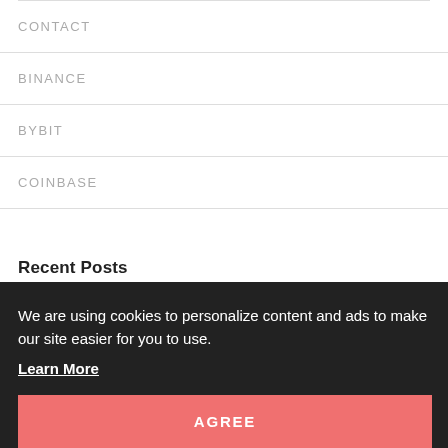CONTACT
BINANCE
BYBIT
COINBASE
Recent Posts
One Of Malaysia's Largest Investment Banks To Launch
We are using cookies to personalize content and ads to make our site easier for you to use. Learn More
AGREE